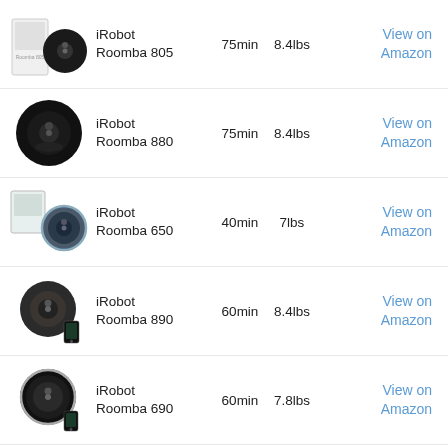| Image | Model | Battery | Weight | Link |
| --- | --- | --- | --- | --- |
| [img] | iRobot Roomba 805 | 75min | 8.4lbs | View on Amazon |
| [img] | iRobot Roomba 880 | 75min | 8.4lbs | View on Amazon |
| [img] | iRobot Roomba 650 | 40min | 7lbs | View on Amazon |
| [img] | iRobot Roomba 890 | 60min | 8.4lbs | View on Amazon |
| [img] | iRobot Roomba 690 | 60min | 7.8lbs | View on Amazon |
| [img] | iRobot Roomba 980 | 120min | 8.7lbs | View on Amazon |